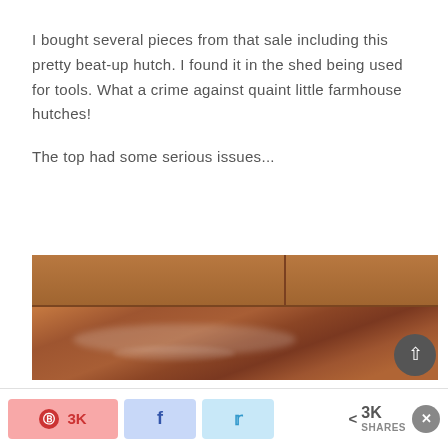I bought several pieces from that sale including this pretty beat-up hutch. I found it in the shed being used for tools. What a crime against quaint little farmhouse hutches!
The top had some serious issues...
[Figure (photo): Close-up photo of the damaged top surface of a wooden hutch. The surface shows scratches, white paint/finish damage, and general wear. The back panel of the hutch is visible above.]
Pinterest 3K | Facebook share | Twitter share | < 3K SHARES | X